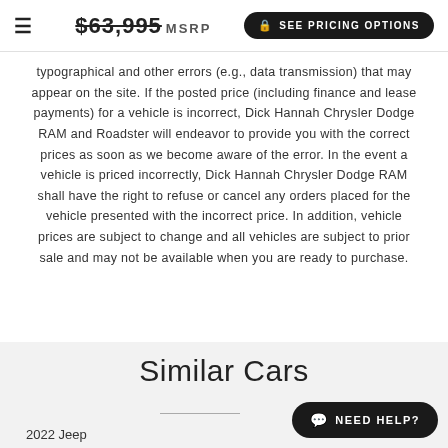☰  $63,995 MSRP  SEE PRICING OPTIONS
typographical and other errors (e.g., data transmission) that may appear on the site. If the posted price (including finance and lease payments) for a vehicle is incorrect, Dick Hannah Chrysler Dodge RAM and Roadster will endeavor to provide you with the correct prices as soon as we become aware of the error. In the event a vehicle is priced incorrectly, Dick Hannah Chrysler Dodge RAM shall have the right to refuse or cancel any orders placed for the vehicle presented with the incorrect price. In addition, vehicle prices are subject to change and all vehicles are subject to prior sale and may not be available when you are ready to purchase.
Similar Cars
2022 Jeep